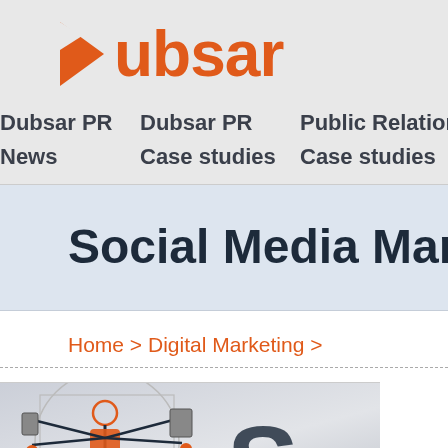[Figure (logo): Dubsar logo with orange arrow/play-button icon and orange text 'ubsar']
Dubsar PR | Dubsar PR | Public Relations | Pub
News | Case studies | Case studies | Contact
Social Media Marketing in Sp
Home > Digital Marketing >
[Figure (illustration): Illustration of a multi-armed figure holding various digital devices, styled after Vitruvian Man concept, with large letter 'S' on the right]